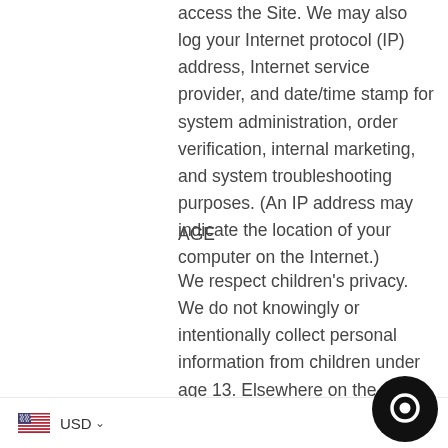access the Site. We may also log your Internet protocol (IP) address, Internet service provider, and date/time stamp for system administration, order verification, internal marketing, and system troubleshooting purposes. (An IP address may indicate the location of your computer on the Internet.)
AGE
We respect children's privacy. We do not knowingly or intentionally collect personal information from children under age 13. Elsewhere on the site, you have represented and warranted that you are either 18 years of or using the site with the supervision of a parent or guardian. If you are under the age of 13, please do not submit any personal information to us, and rely on a parent or
USD